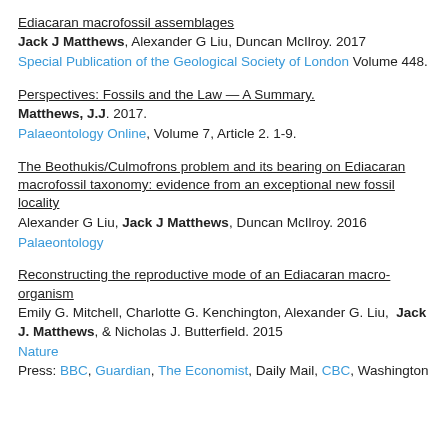Ediacaran macrofossil assemblages. Jack J Matthews, Alexander G Liu, Duncan McIlroy. 2017. Special Publication of the Geological Society of London Volume 448.
Perspectives: Fossils and the Law — A Summary. Matthews, J.J. 2017. Palaeontology Online, Volume 7, Article 2. 1-9.
The Beothukis/Culmofrons problem and its bearing on Ediacaran macrofossil taxonomy: evidence from an exceptional new fossil locality. Alexander G Liu, Jack J Matthews, Duncan McIlroy. 2016. Palaeontology
Reconstructing the reproductive mode of an Ediacaran macro-organism. Emily G. Mitchell, Charlotte G. Kenchington, Alexander G. Liu, Jack J. Matthews, & Nicholas J. Butterfield. 2015. Nature. Press: BBC, Guardian, The Economist, Daily Mail, CBC, Washington